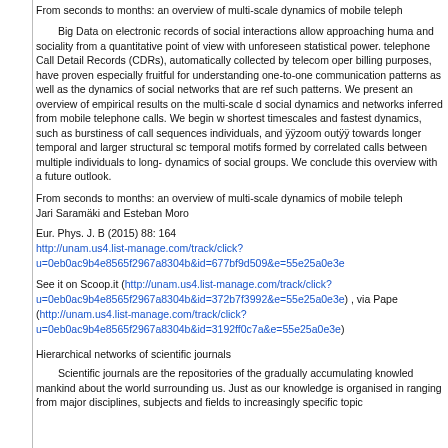From seconds to months: an overview of multi-scale dynamics of mobile teleph
Big Data on electronic records of social interactions allow approaching huma and sociality from a quantitative point of view with unforeseen statistical power. telephone Call Detail Records (CDRs), automatically collected by telecom oper billing purposes, have proven especially fruitful for understanding one-to-one communication patterns as well as the dynamics of social networks that are ref such patterns. We present an overview of empirical results on the multi-scale d social dynamics and networks inferred from mobile telephone calls. We begin w shortest timescales and fastest dynamics, such as burstiness of call sequences individuals, and ÿÿzoom outÿÿ towards longer temporal and larger structural sc temporal motifs formed by correlated calls between multiple individuals to long- dynamics of social groups. We conclude this overview with a future outlook.
From seconds to months: an overview of multi-scale dynamics of mobile teleph
Jari Saramäki and Esteban Moro
Eur. Phys. J. B (2015) 88: 164
http://unam.us4.list-manage.com/track/click?u=0eb0ac9b4e8565f2967a8304b&id=677bf9d509&e=55e25a0e3e
See it on Scoop.it (http://unam.us4.list-manage.com/track/click?u=0eb0ac9b4e8565f2967a8304b&id=372b7f3992&e=55e25a0e3e) , via Pape (http://unam.us4.list-manage.com/track/click?u=0eb0ac9b4e8565f2967a8304b&id=3192ff0c7a&e=55e25a0e3e)
Hierarchical networks of scientific journals
Scientific journals are the repositories of the gradually accumulating knowled mankind about the world surrounding us. Just as our knowledge is organised in ranging from major disciplines, subjects and fields to increasingly specific topic